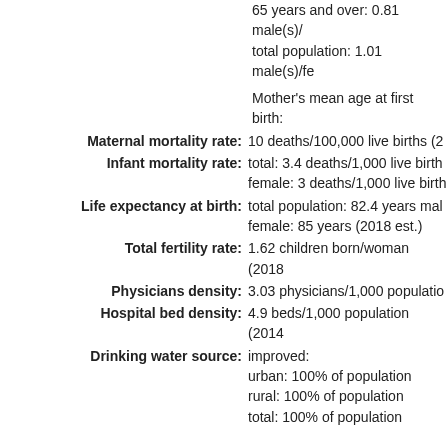65 years and over: 0.81 male(s)/female
total population: 1.01 male(s)/female
Mother's mean age at first birth:
Maternal mortality rate: 10 deaths/100,000 live births (2
Infant mortality rate: total: 3.4 deaths/1,000 live births female: 3 deaths/1,000 live births
Life expectancy at birth: total population: 82.4 years male female: 85 years (2018 est.)
Total fertility rate: 1.62 children born/woman (2018
Physicians density: 3.03 physicians/1,000 population
Hospital bed density: 4.9 beds/1,000 population (2014
Drinking water source: improved: urban: 100% of population rural: 100% of population total: 100% of population unimproved: urban: 0% of population rural: 0% of population total: 0% of population (2015 est.)
Sanitation facility access: improved: urban: 97.5% of population (2015) rural: 98.5% of population (2015) total: 97.6% of population (2015) unimproved: urban: 2.5% of population (2015) rural: 1.5% of population (2015)